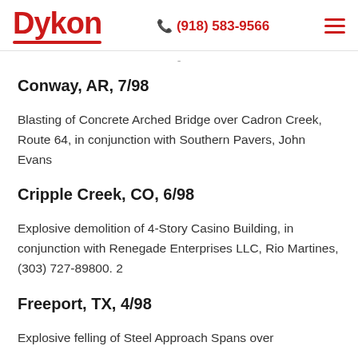Dykon | (918) 583-9566
Conway, AR, 7/98
Blasting of Concrete Arched Bridge over Cadron Creek, Route 64, in conjunction with Southern Pavers, John Evans
Cripple Creek, CO, 6/98
Explosive demolition of 4-Story Casino Building, in conjunction with Renegade Enterprises LLC, Rio Martines, (303) 727-89800. 2
Freeport, TX, 4/98
Explosive felling of Steel Approach Spans over...